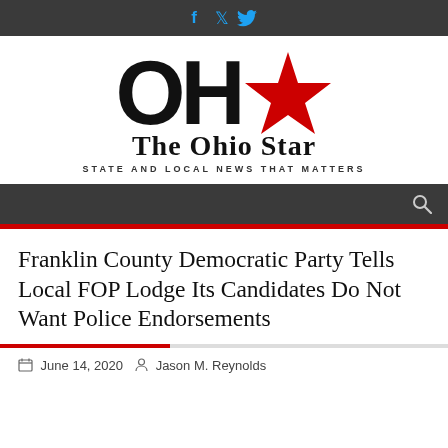[Figure (logo): The Ohio Star newspaper logo with OH letters in large black bold font, a red star, the text 'The Ohio Star' and tagline 'STATE AND LOCAL NEWS THAT MATTERS']
Franklin County Democratic Party Tells Local FOP Lodge Its Candidates Do Not Want Police Endorsements
June 14, 2020  Jason M. Reynolds